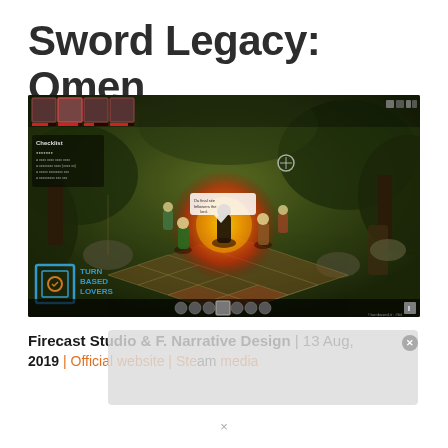Sword Legacy: Omen
[Figure (screenshot): Gameplay screenshot of Sword Legacy: Omen showing a turn-based tactical RPG scene with a grid-based battlefield, fire in the center, characters around it, dark fantasy environment with foliage, UI elements showing character cards at top, checklist panel on left, Turn Based Lovers logo at bottom left, and ability icons at bottom.]
Firecast Studio & F. Narrative Design | 13 Aug, 2019 | Official website | Steam media